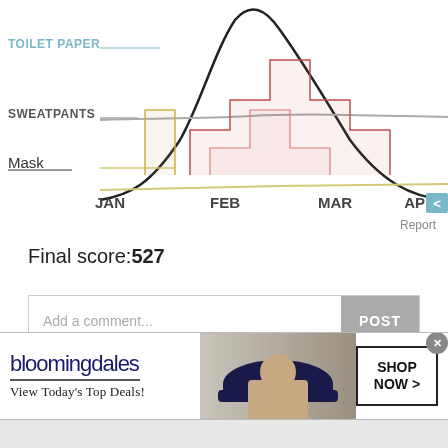[Figure (line-chart): Line chart showing search interest over time for Toilet Paper (black curve peaking in March), Sweatpants (gray line), and Mask (tan/yellow low line), with a step-pattern overlay in red/pink]
Report
Final score:527
[Figure (screenshot): Comment input box with placeholder 'Add a comment...' and POST button]
kasa alex  2 years ago
omg MASKS
[Figure (infographic): Bloomingdales advertisement banner: 'bloomingdales — View Today's Top Deals!' with woman in hat and SHOP NOW > button]